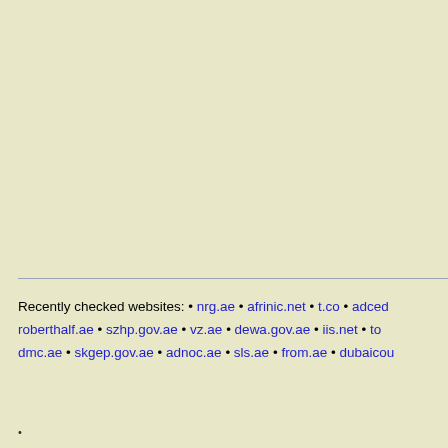Recently checked websites: • nrg.ae • afrinic.net • t.co • adced... roberthalf.ae • szhp.gov.ae • vz.ae • dewa.gov.ae • iis.net • to... dmc.ae • skgep.gov.ae • adnoc.ae • sls.ae • from.ae • dubaicou...
•